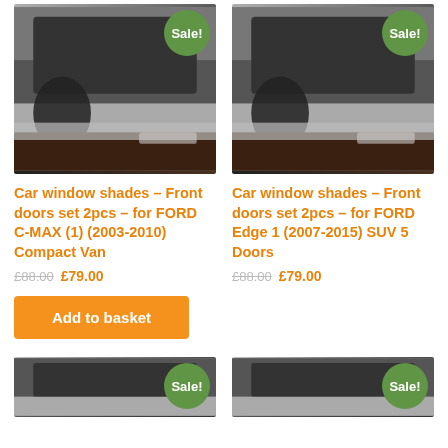[Figure (photo): Car window shade product photo for Ford C-MAX, with 'Sale!' badge in green circle top right]
[Figure (photo): Car window shade product photo for Ford Edge, with 'Sale!' badge in green circle top right]
Car window shades – Front doors set 2pcs – for FORD C-MAX (1) (2003-2010) Compact Van
Car window shades – Front doors set 2pcs – for FORD Edge 1 (2007-2015) SUV 5 Doors
£88.00 £79.00
£88.00 £79.00
Add to basket
[Figure (photo): Partial car window shade product photo with 'Sale!' badge, bottom left]
[Figure (photo): Partial car window shade product photo with 'Sale!' badge, bottom right]